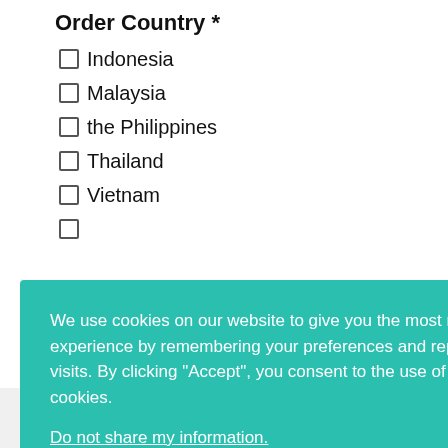Order Country *
Indonesia
Malaysia
the Philippines
Thailand
Vietnam
We use cookies on our website to give you the most relevant experience by remembering your preferences and repeat visits. By clicking “Accept”, you consent to the use of ALL the cookies.
Do not share my information.
Cookie Settings
Accept
Submit